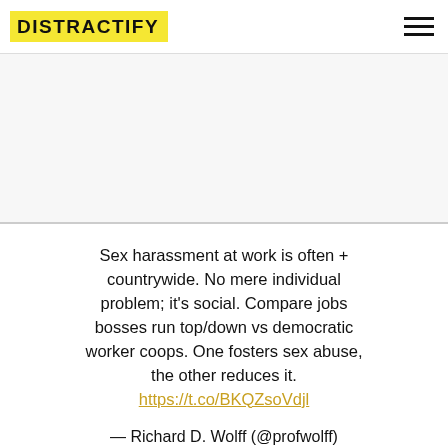DISTRACTIFY
[Figure (other): Gray advertisement placeholder area]
Sex harassment at work is often + countrywide. No mere individual problem; it's social. Compare jobs bosses run top/down vs democratic worker coops. One fosters sex abuse, the other reduces it. https://t.co/BKQZsoVdjl
— Richard D. Wolff (@profwolff)
August 28, 2021